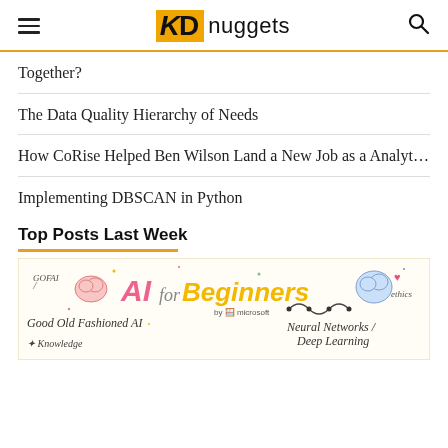KD nuggets
Together?
The Data Quality Hierarchy of Needs
How CoRise Helped Ben Wilson Land a New Job as a Analyt…
Implementing DBSCAN in Python
Top Posts Last Week
[Figure (illustration): Colorful hand-drawn illustration for 'AI for Beginners by Microsoft' showing GOFAI, Good Old Fashioned AI, Neural Networks/Deep Learning, ethics, Knowledge, and a brain/robot sketch.]